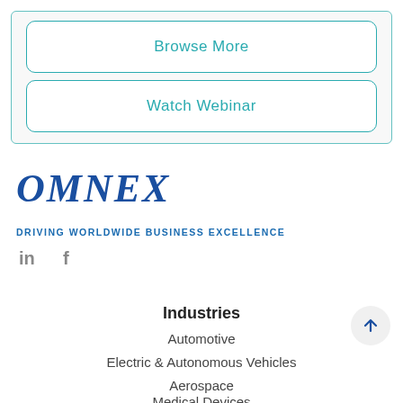[Figure (screenshot): Box with two teal-bordered rounded rectangle buttons: 'Browse More' and 'Watch Webinar']
[Figure (logo): OMNEX logo in blue italic serif font]
DRIVING WORLDWIDE BUSINESS EXCELLENCE
[Figure (other): LinkedIn and Facebook social media icons in gray]
Industries
Automotive
Electric & Autonomous Vehicles
Aerospace
Medical Devices